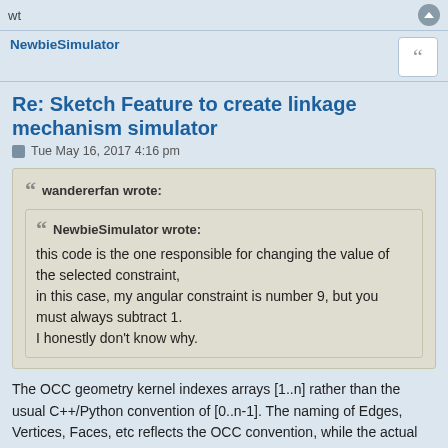wt
NewbieSimulator
Re: Sketch Feature to create linkage mechanism simulator
Tue May 16, 2017 4:16 pm
wandererfan wrote:
NewbieSimulator wrote:
this code is the one responsible for changing the value of the selected constraint,
in this case, my angular constraint is number 9, but you must always subtract 1.
I honestly don't know why.
The OCC geometry kernel indexes arrays [1..n] rather than the usual C++/Python convention of [0..n-1]. The naming of Edges, Vertices, Faces, etc reflects the OCC convention, while the actual Python lists in FreeCAD follow the Python convention.
Now you know.